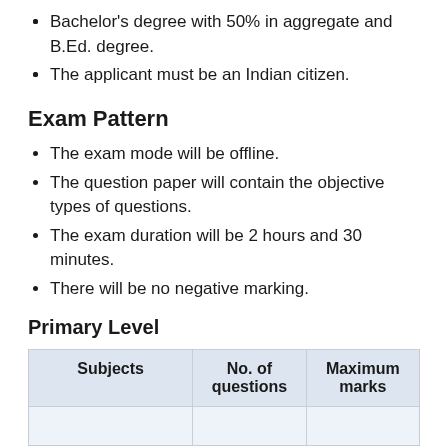Bachelor's degree with 50% in aggregate and B.Ed. degree.
The applicant must be an Indian citizen.
Exam Pattern
The exam mode will be offline.
The question paper will contain the objective types of questions.
The exam duration will be 2 hours and 30 minutes.
There will be no negative marking.
Primary Level
| Subjects | No. of questions | Maximum marks |
| --- | --- | --- |
|  |  |  |